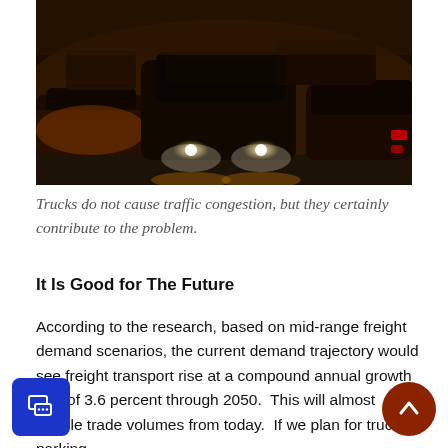[Figure (photo): Night-time photograph of heavy traffic congestion: multiple cars viewed from above/side angle with headlights and taillights glowing in dark amber/orange lighting.]
Trucks do not cause traffic congestion, but they certainly contribute to the problem.
It Is Good for The Future
According to the research, based on mid-range freight demand scenarios, the current demand trajectory would see freight transport rise at a compound annual growth rate of 3.6 percent through 2050.  This will almost double trade volumes from today.  If we plan for truck parking